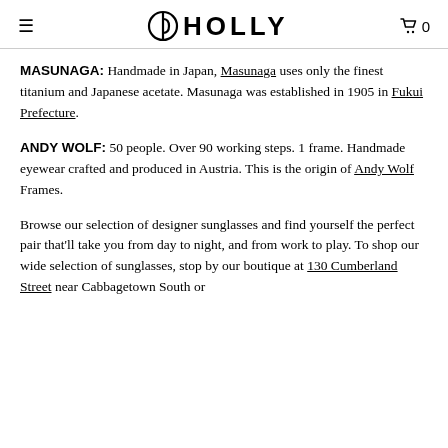≡  HOLLY  🛒 0
MASUNAGA: Handmade in Japan, Masunaga uses only the finest titanium and Japanese acetate. Masunaga was established in 1905 in Fukui Prefecture.
ANDY WOLF: 50 people. Over 90 working steps. 1 frame. Handmade eyewear crafted and produced in Austria. This is the origin of Andy Wolf Frames.
Browse our selection of designer sunglasses and find yourself the perfect pair that'll take you from day to night, and from work to play. To shop our wide selection of sunglasses, stop by our boutique at 130 Cumberland Street near Cabbagetown South or